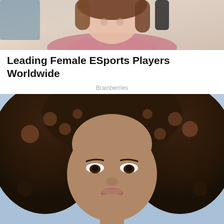[Figure (photo): Photo of a young woman with long brown hair, wearing a floral top, leaning forward smiling]
Leading Female ESports Players Worldwide
Brainberries
[Figure (photo): Close-up photo of a Black woman with voluminous curly hair highlighted with auburn tones, looking directly at camera]
7 African Actresses With Thick Skin Who Got Famous In Hollywood